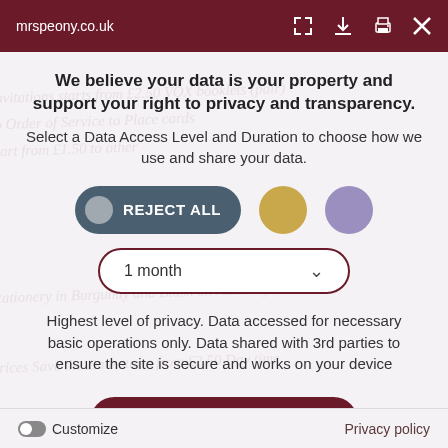mrspeony.co.uk
We believe your data is your property and support your right to privacy and transparency.
Select a Data Access Level and Duration to choose how we use and share your data.
[Figure (infographic): Consent control UI with REJECT ALL toggle button (dark teal), a gold circle button, and a lavender circle button side by side]
[Figure (infographic): Dropdown selector showing '1 month' with a downward chevron, styled with a dark red border and rounded pill shape]
Highest level of privacy. Data accessed for necessary basic operations only. Data shared with 3rd parties to ensure the site is secure and works on your device
[Figure (infographic): Dark maroon rounded pill button labeled 'Save my preferences']
Customize   Privacy policy